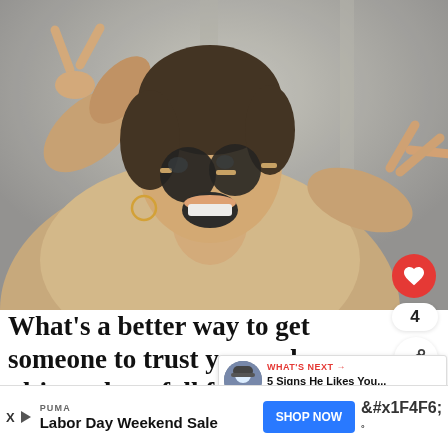[Figure (photo): Woman with sunglasses making peace signs with both hands, smiling widely, wearing a beige top, photographed outdoors]
What’s a better way to get someone to trust you and ultimately to fall fo... than sharing a personal secret with
[Figure (other): What's Next card showing avatar of person wearing beanie hat with label 'WHAT’S NEXT →' and text '5 Signs He Likes You...']
[Figure (other): Advertisement banner: PUMA Labor Day Weekend Sale with SHOP NOW button, X and play icons, and WiFi symbol]